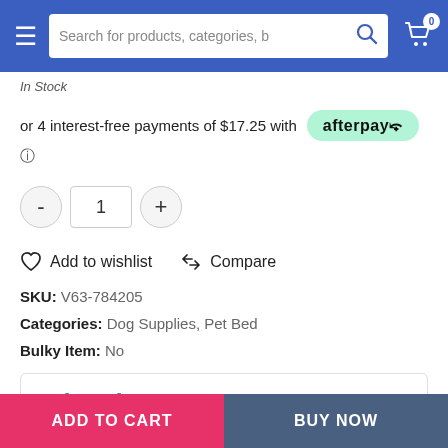Search for products, categories, b
In stock
or 4 interest-free payments of $17.25 with afterpay
- 1 +
Add to wishlist   Compare
SKU: V63-784205
Categories: Dog Supplies, Pet Bed
Bulky Item: No
Why shop at
ADD TO CART   BUY NOW